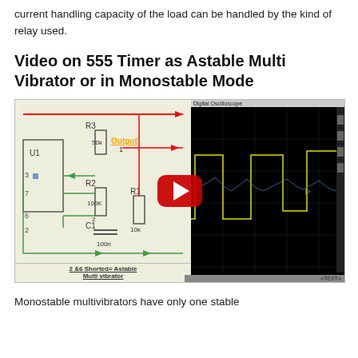current handling capacity of the load can be handled by the kind of relay used.
Video on 555 Timer as Astable Multi Vibrator or in Monostable Mode
[Figure (screenshot): Screenshot of a video showing a 555 Timer circuit diagram on the left (with components U1, R1 10k, R2 100K, R3 50k, C1 100n, labelled Output, pins 2,3,6,7) and a Digital Oscilloscope waveform display on the right showing square wave output. A YouTube-style red play button overlay is in the center. Bottom caption reads '2 &6 Shorted= Astable Multi vibrator'.]
Monostable multivibrators have only one stable